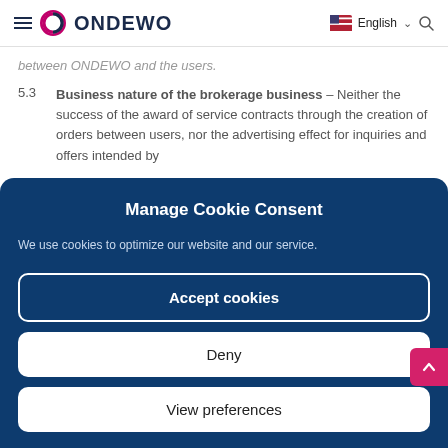ONDEWO — English
between ONDEWO and the users.
5.3 Business nature of the brokerage business – Neither the success of the award of service contracts through the creation of orders between users, nor the advertising effect for inquiries and offers intended by
Manage Cookie Consent
We use cookies to optimize our website and our service.
Accept cookies
Deny
View preferences